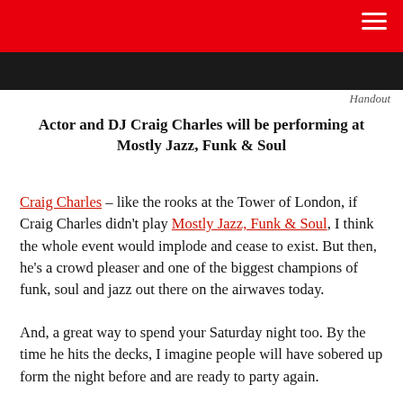[Figure (photo): Dark photo strip at the top of the page, partially obscured by the red header bar.]
Handout
Actor and DJ Craig Charles will be performing at Mostly Jazz, Funk & Soul
Craig Charles – like the rooks at the Tower of London, if Craig Charles didn't play Mostly Jazz, Funk & Soul, I think the whole event would implode and cease to exist. But then, he's a crowd pleaser and one of the biggest champions of funk, soul and jazz out there on the airwaves today.
And, a great way to spend your Saturday night too. By the time he hits the decks, I imagine people will have sobered up form the night before and are ready to party again.